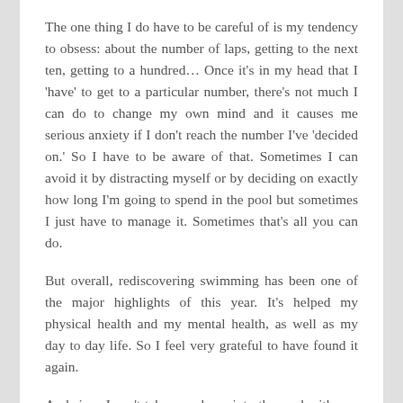The one thing I do have to be careful of is my tendency to obsess: about the number of laps, getting to the next ten, getting to a hundred… Once it's in my head that I 'have' to get to a particular number, there's not much I can do to change my own mind and it causes me serious anxiety if I don't reach the number I've 'decided on.' So I have to be aware of that. Sometimes I can avoid it by distracting myself or by deciding on exactly how long I'm going to spend in the pool but sometimes I just have to manage it. Sometimes that's all you can do.
But overall, rediscovering swimming has been one of the major highlights of this year. It's helped my physical health and my mental health, as well as my day to day life. So I feel very grateful to have found it again.
And since I can't take my phone into the pool with me, here's a photo of my dog, enjoying his fortnightly swim.